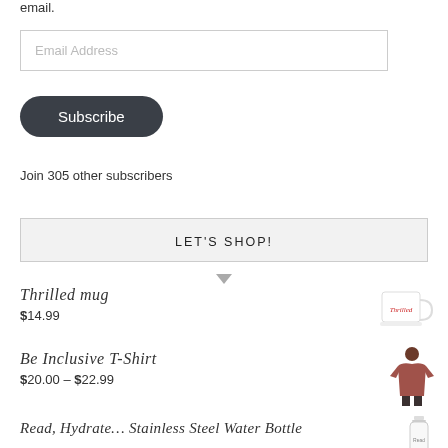email.
[Figure (screenshot): Email Address input field]
[Figure (screenshot): Subscribe button with dark rounded background]
Join 305 other subscribers
LET'S SHOP!
Thrilled mug
$14.99
[Figure (photo): White mug with red text 'Thrilled']
Be Inclusive T-Shirt
$20.00 – $22.99
[Figure (photo): Dark pink t-shirt on a person]
Read, Hydrate… Stainless Steel Water Bottle
[Figure (photo): White stainless steel water bottle]